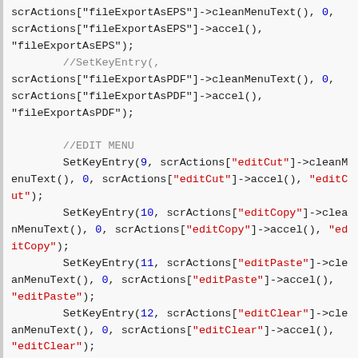Code snippet showing SetKeyEntry calls for fileExportAsEPS, fileExportAsPDF, and edit menu actions (editCut, editCopy, editPaste, editClear, editSelectAll, editColors)